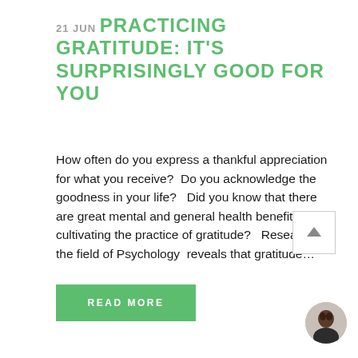21 JUN PRACTICING GRATITUDE: IT'S SURPRISINGLY GOOD FOR YOU
How often do you express a thankful appreciation for what you receive?  Do you acknowledge the goodness in your life?   Did you know that there are great mental and general health benefits in cultivating the practice of gratitude?   Research in the field of Psychology  reveals that gratitude…
READ MORE